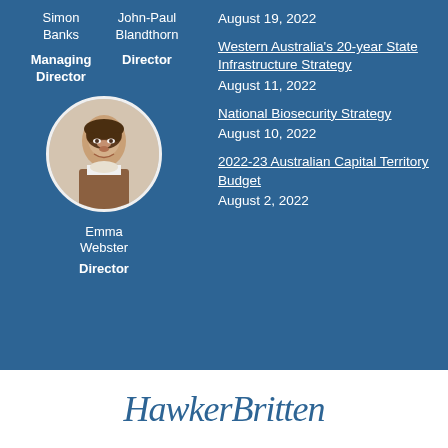Simon Banks
John-Paul Blandthorn
Managing Director
Director
[Figure (photo): Circular portrait photo of Emma Webster]
Emma Webster
Director
August 19, 2022
Western Australia's 20-year State Infrastructure Strategy
August 11, 2022
National Biosecurity Strategy
August 10, 2022
2022-23 Australian Capital Territory Budget
August 2, 2022
HawkerBritten